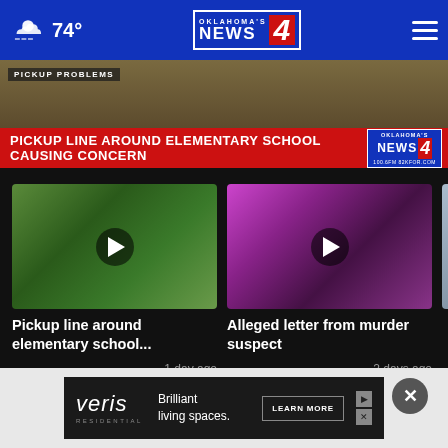74° | Oklahoma's News 4
[Figure (screenshot): News banner: PICKUP LINE AROUND ELEMENTARY SCHOOL CAUSING CONCERN with Oklahoma's News 4 logo]
[Figure (screenshot): Video thumbnail: Pickup line around elementary school, 1 day ago]
Pickup line around elementary school...
1 day ago
[Figure (screenshot): Video thumbnail: Alleged letter from murder suspect, 2 days ago]
Alleged letter from murder suspect
2 days ago
More Videos ›
[Figure (screenshot): Veris Residential advertisement: Brilliant living spaces. LEARN MORE]